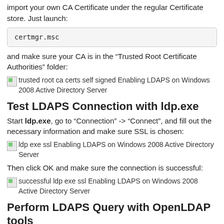import your own CA Certificate under the regular Certificate store. Just launch:
and make sure your CA is in the “Trusted Root Certificate Authorities” folder:
[Figure (screenshot): trusted root ca certs self signed Enabling LDAPS on Windows 2008 Active Directory Server]
Test LDAPS Connection with ldp.exe
Start ldp.exe, go to “Connection” -> “Connect”, and fill out the necessary information and make sure SSL is chosen:
[Figure (screenshot): ldp exe ssl Enabling LDAPS on Windows 2008 Active Directory Server]
Then click OK and make sure the connection is successful:
[Figure (screenshot): successful ldp exe ssl Enabling LDAPS on Windows 2008 Active Directory Server]
Perform LDAPS Query with OpenLDAP tools
If we try the regular search, we will get this error: